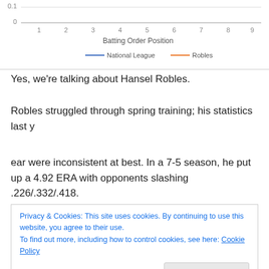[Figure (line-chart): Batting Order Position]
Yes, we're talking about Hansel Robles.
Robles struggled through spring training; his statistics last y
ear were inconsistent at best. In a 7-5 season, he put up a 4.92 ERA with opponents slashing .226/.332/.418.
Privacy & Cookies: This site uses cookies. By continuing to use this website, you agree to their use.
To find out more, including how to control cookies, see here: Cookie Policy
and a reputation as serving up homers, going a month and